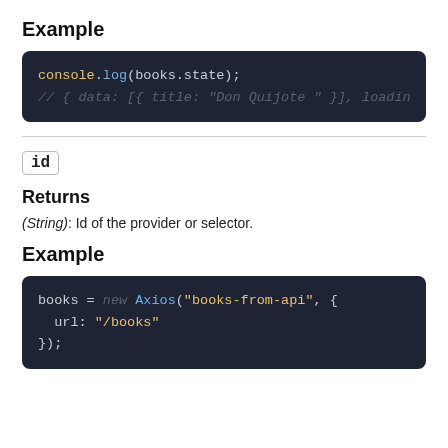Example
[Figure (screenshot): Code block showing: console.log(books.state); // { data: [{ title: "Don Quijote " }], loading]
id
Returns
(String): Id of the provider or selector.
Example
[Figure (screenshot): Code block showing: books = new Axios("books-from-api", {
  url: "/books"
});]